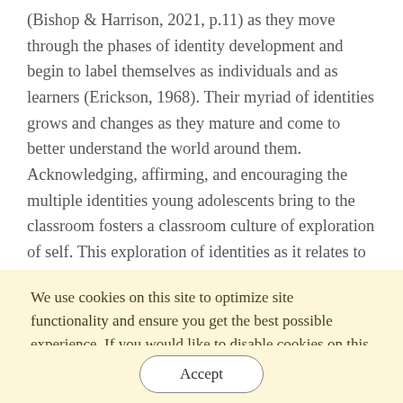(Bishop & Harrison, 2021, p.11) as they move through the phases of identity development and begin to label themselves as individuals and as learners (Erickson, 1968). Their myriad of identities grows and changes as they mature and come to better understand the world around them. Acknowledging, affirming, and encouraging the multiple identities young adolescents bring to the classroom fosters a classroom culture of exploration of self. This exploration of identities as it relates to curricular demands is appropriate and can influence a student's perspective and perceptions of
We use cookies on this site to optimize site functionality and ensure you get the best possible experience. If you would like to disable cookies on this device, please review the section on 'Managing cookies' in our privacy policy. View our Privacy Policy
Accept